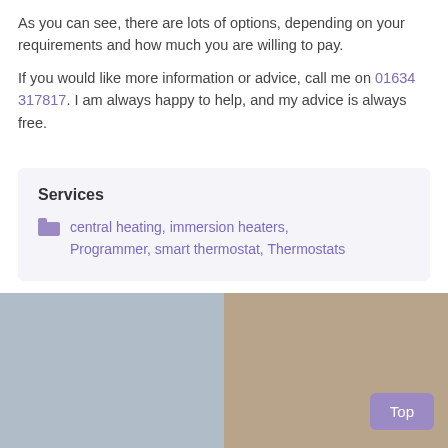As you can see, there are lots of options, depending on your requirements and how much you are willing to pay.
If you would like more information or advice, call me on 01634 317817. I am always happy to help, and my advice is always free.
Services
central heating, immersion heaters, Programmer, smart thermostat, Thermostats
[Figure (photo): Blurred photo showing a hallway or room interior with white wall on left and brown/tan surface on right, likely a boiler or cabinet.]
Top